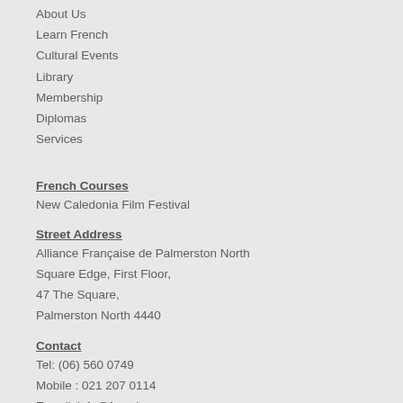About Us
Learn French
Cultural Events
Library
Membership
Diplomas
Services
French Courses
New Caledonia Film Festival
Street Address
Alliance Française de Palmerston North
Square Edge, First Floor,
47 The Square,
Palmerston North 4440
Contact
Tel: (06) 560 0749
Mobile : 021 207 0114
E-mail: info@french.org.nz